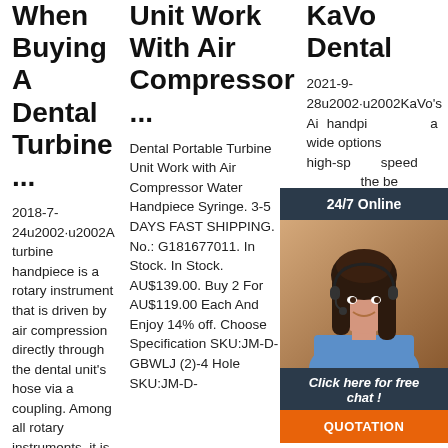When Buying A Dental Turbine ...
2018-7-24u2002·u2002A turbine handpiece is a rotary instrument that is driven by air compression directly through the dental unit's hose via a coupling. Among all rotary instruments, it is the one with the highest speed (from 100,000 to 500,000), but the one with the
Unit Work With Air Compressor ...
Dental Portable Turbine Unit Work with Air Compressor Water Handpiece Syringe. 3-5 DAYS FAST SHIPPING. No.: G181677011. In Stock. In Stock. AU$139.00. Buy 2 For AU$119.00 Each And Enjoy 14% off. Choose Specification SKU:JM-D-GBWLJ (2)-4 Hole SKU:JM-D-
KaVo Dental
2021-9-28u2002·u2002KaVo's Air handpieces offer a wide range of options, including high-speed, slow speed to give you the best clinical outcomes with virtually every procedure. Genuine KaVo turbines are individually balanced and electronically tested to meet the highest concentricity
[Figure (photo): Customer service representative with headset, chat widget overlay with dark header '24/7 Online', chat CTA 'Click here for free chat!', orange QUOTATION button, and TOP logo with orange triangle and dots]